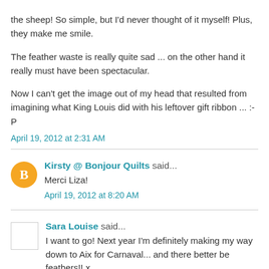the sheep! So simple, but I'd never thought of it myself! Plus, they make me smile.
The feather waste is really quite sad ... on the other hand it really must have been spectacular.
Now I can't get the image out of my head that resulted from imagining what King Louis did with his leftover gift ribbon ... :-P
April 19, 2012 at 2:31 AM
Kirsty @ Bonjour Quilts said...
Merci Liza!
April 19, 2012 at 8:20 AM
Sara Louise said...
I want to go! Next year I'm definitely making my way down to Aix for Carnaval... and there better be feathers!! x